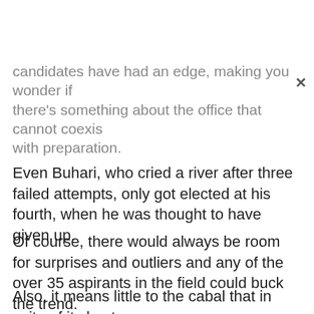candidates have had an edge, making you wonder if there's something about the office that cannot coexist with preparation.
Even Buhari, who cried a river after three failed attempts, only got elected at his fourth, when he was thought to have given up.
Of course, there would always be room for surprises and outliers and any of the over 35 aspirants in the field could buck the trend.
Also, it means little to the cabal that in spite of its best efforts and elaborate care to control the process